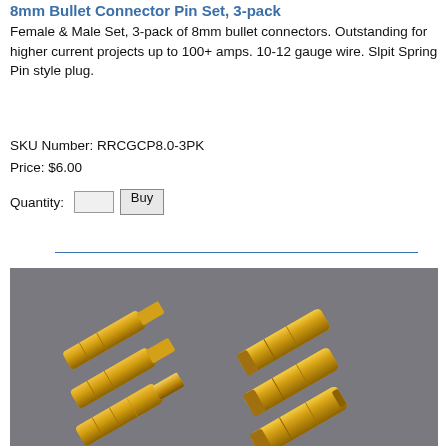8mm Bullet Connector Pin Set, 3-pack
Female & Male Set, 3-pack of 8mm bullet connectors. Outstanding for higher current projects up to 100+ amps. 10-12 gauge wire. Slpit Spring Pin style plug.
SKU Number: RRCGCP8.0-3PK
Price: $6.00
Quantity: [input] Buy
[Figure (photo): Photo of gold-plated 8mm bullet connectors, showing multiple male and female connectors arranged on a grey background]